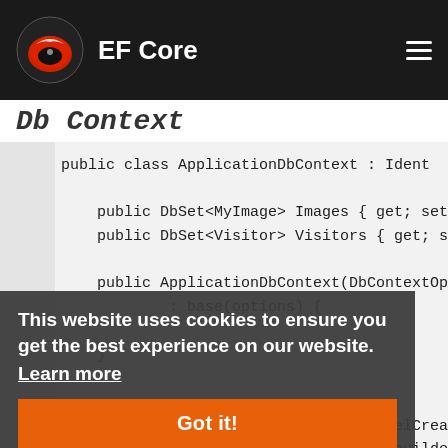EF Core
Db Context
[Figure (screenshot): C# code block showing ApplicationDbContext class with DbSet properties for MyImage and Visitor, constructor, and OnModelCreating override with ApplyConfiguration calls]
This website uses cookies to ensure you get the best experience on our website.
Learn more
Got it!